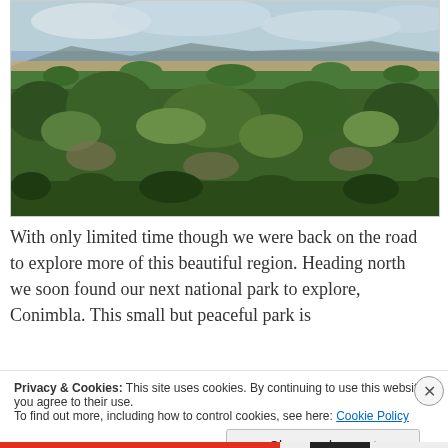[Figure (photo): Aerial/elevated view of a vast Australian bush landscape with dense green scrubland and trees in the foreground, open golden plains and distant mountains visible on the horizon under a cloudy sky.]
With only limited time though we were back on the road to explore more of this beautiful region. Heading north we soon found our next national park to explore, Conimbla. This small but peaceful park is
Privacy & Cookies: This site uses cookies. By continuing to use this website, you agree to their use.
To find out more, including how to control cookies, see here: Cookie Policy
Close and accept